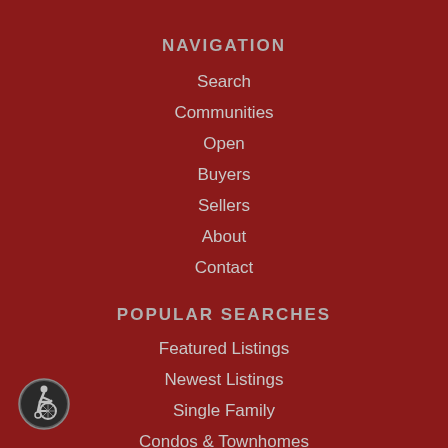NAVIGATION
Search
Communities
Open
Buyers
Sellers
About
Contact
POPULAR SEARCHES
Featured Listings
Newest Listings
Single Family
Condos & Townhomes
Luxury Homes
[Figure (illustration): Wheelchair accessibility icon — circular icon with grey border showing a person in a wheelchair]